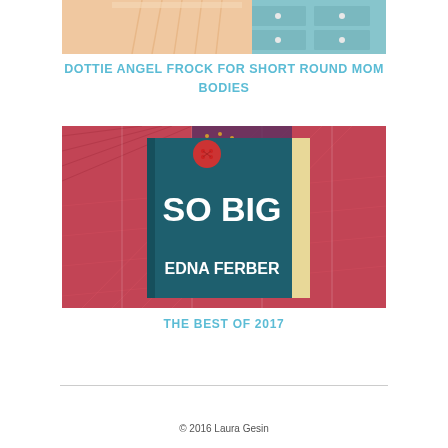[Figure (photo): Top portion of a person wearing a peach/pink pleated dress, with a light blue dresser/chest of drawers in the background]
DOTTIE ANGEL FROCK FOR SHORT ROUND MOM BODIES
[Figure (photo): Book cover of 'SO BIG' by Edna Ferber, placed on a red and white herringbone/plaid fabric background. The book has a teal/dark green cover with bold white text and a red button decoration at the top.]
THE BEST OF 2017
© 2016 Laura Gesin